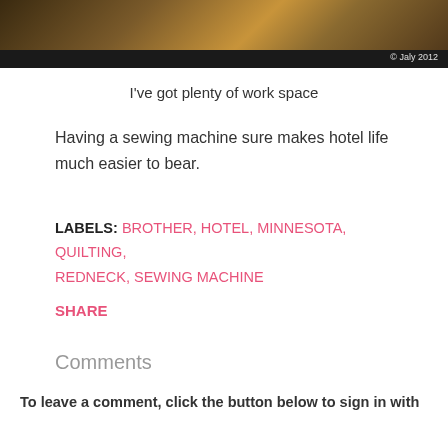[Figure (photo): Photo of a hotel counter/workspace with granite surface and dark bar at bottom, copyright mark '© Jaly 2012' in lower right]
I've got plenty of work space
Having a sewing machine sure makes hotel life much easier to bear.
LABELS: BROTHER, HOTEL, MINNESOTA, QUILTING, REDNECK, SEWING MACHINE
SHARE
Comments
To leave a comment, click the button below to sign in with